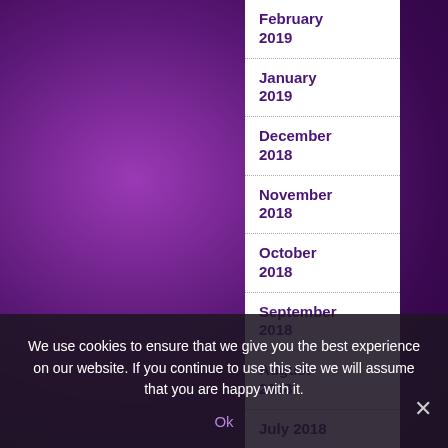[Figure (screenshot): Purple gradient background of a website]
February 2019
January 2019
December 2018
November 2018
October 2018
September 2018
August 2018
July 2018
June 2018
May 2018
April 2018
March 2018
We use cookies to ensure that we give you the best experience on our website. If you continue to use this site we will assume that you are happy with it.
Ok